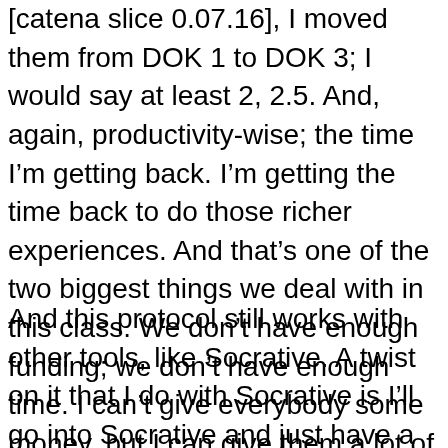[catena slice 0.07.16], I moved them from DOK 1 to DOK 3; I would say at least 2, 2.5. And, again, productivity-wise; the time I'm getting back. I'm getting the time back to do those richer experiences. And that's one of the two biggest things we deal with in this class. We don't have enough funding; we don't have enough time. I can't give everybody some money, but I can give them a lot of time.
And this protocol still works with other tools, like Socrative. A twist on it that I do with Socrative is I'll go into Socrative and just have a quick question. I don't make any questions; there's no exam view. I just put up a quick question that's open-ended, and I say to the kids, I would like for you to write a compound sentence, and